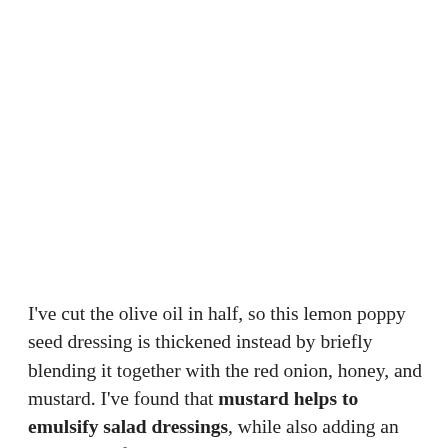I've cut the olive oil in half, so this lemon poppy seed dressing is thickened instead by briefly blending it together with the red onion, honey, and mustard. I've found that mustard helps to emulsify salad dressings, while also adding an extra tangy flavor, so don't be tempted to leave it out!